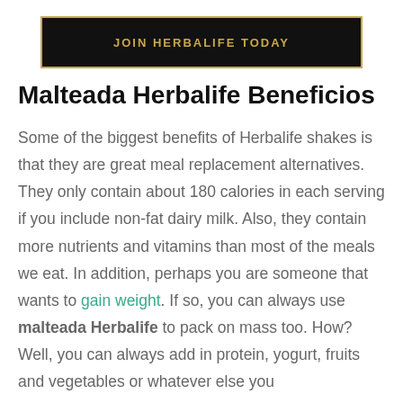[Figure (other): Black banner with gold border reading JOIN HERBALIFE TODAY in gold uppercase letters]
Malteada Herbalife Beneficios
Some of the biggest benefits of Herbalife shakes is that they are great meal replacement alternatives. They only contain about 180 calories in each serving if you include non-fat dairy milk. Also, they contain more nutrients and vitamins than most of the meals we eat. In addition, perhaps you are someone that wants to gain weight. If so, you can always use malteada Herbalife to pack on mass too. How? Well, you can always add in protein, yogurt, fruits and vegetables or whatever else you